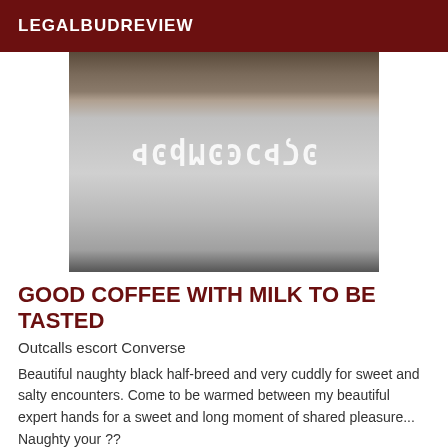LEGALBUDREVIEW
[Figure (photo): A close-up photo of a person with their midsection wrapped in silver metallic/foil material. Mirrored/flipped watermark numbers overlaid on the image reading '3cd78e3258b0' or similar character string.]
GOOD COFFEE WITH MILK TO BE TASTED
Outcalls escort Converse
Beautiful naughty black half-breed and very cuddly for sweet and salty encounters. Come to be warmed between my beautiful expert hands for a sweet and long moment of shared pleasure... Naughty your ??